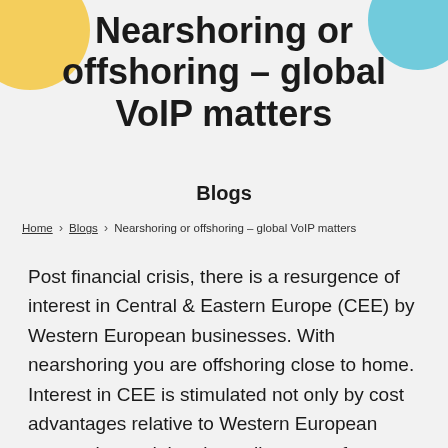Nearshoring or offshoring – global VoIP matters
Blogs
Home › Blogs › Nearshoring or offshoring – global VoIP matters
Post financial crisis, there is a resurgence of interest in Central & Eastern Europe (CEE) by Western European businesses. With nearshoring you are offshoring close to home. Interest in CEE is stimulated not only by cost advantages relative to Western European economies and the close alignment of timezones, but also by the capabilities of CEE